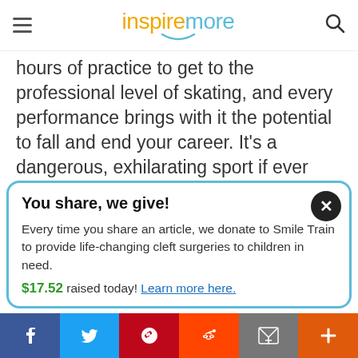inspiremore
hours of practice to get to the professional level of skating, and every performance brings with it the potential to fall and end your career. It's a dangerous, exhilarating sport if ever there was one.
You share, we give!

Every time you share an article, we donate to Smile Train to provide life-changing cleft surgeries to children in need.
$17.52 raised today! Learn more here.